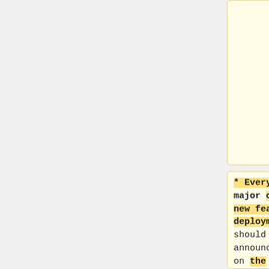the various wikis, see https://versions.toolforge.org/
* Every major or new feature deployment should be announced on the Wikimedia blog and/or [[meta:Tech/News/Next|Tech News]] (use the [https://phabricator.wikimedia.org/p
*The deployment commands helper can assist with which commands to run, including how to revert your change: https://deploy-commands.toolforge.org/